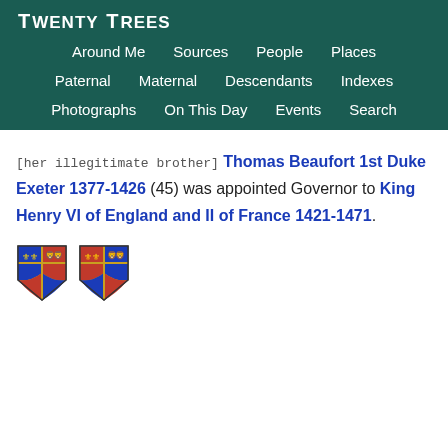TWENTY TREES
Around Me  Sources  People  Places  Paternal  Maternal  Descendants  Indexes  Photographs  On This Day  Events  Search
[her illegitimate brother] Thomas Beaufort 1st Duke Exeter 1377-1426 (45) was appointed Governor to King Henry VI of England and II of France 1421-1471.
[Figure (illustration): Two heraldic coat of arms shields side by side]